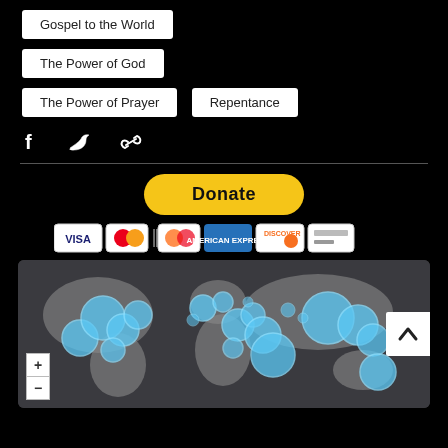Gospel to the World
The Power of God
The Power of Prayer
Repentance
[Figure (infographic): Social share icons: Facebook (f), Twitter (bird), link/chain icon]
[Figure (infographic): PayPal Donate button (gold/yellow pill shape) with payment card logos below: VISA, Mastercard, another Mastercard variant, American Express, Discover, and a bank card]
[Figure (map): Interactive world map on dark background with blue circle clusters indicating geographic data points concentrated in North America, Europe, Middle East/Africa, and Southeast Asia. Map controls (+/-) in lower left. Back-to-top arrow (^) on right edge.]